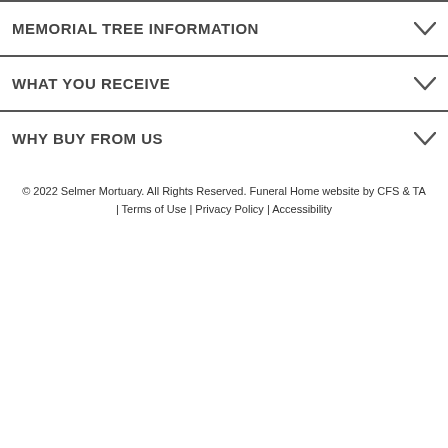MEMORIAL TREE INFORMATION
WHAT YOU RECEIVE
WHY BUY FROM US
© 2022 Selmer Mortuary. All Rights Reserved. Funeral Home website by CFS & TA | Terms of Use | Privacy Policy | Accessibility